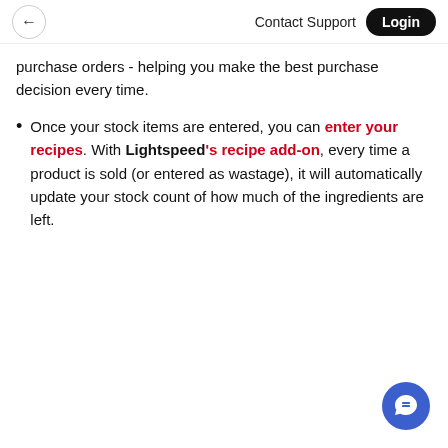← Contact Support Login
purchase orders - helping you make the best purchase decision every time.
Once your stock items are entered, you can enter your recipes. With Lightspeed's recipe add-on, every time a product is sold (or entered as wastage), it will automatically update your stock count of how much of the ingredients are left.